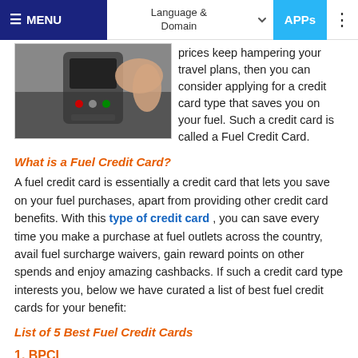MENU | Language & Domain | APPs
[Figure (photo): Photo of a hand using a payment terminal/card reader device, partially cropped at top.]
prices keep hampering your travel plans, then you can consider applying for a credit card type that saves you on your fuel. Such a credit card is called a Fuel Credit Card.
What is a Fuel Credit Card?
A fuel credit card is essentially a credit card that lets you save on your fuel purchases, apart from providing other credit card benefits. With this type of credit card , you can save every time you make a purchase at fuel outlets across the country, avail fuel surcharge waivers, gain reward points on other spends and enjoy amazing cashbacks. If such a credit card type interests you, below we have curated a list of best fuel credit cards for your benefit:
List of 5 Best Fuel Credit Cards
1. BPCL SBI Credit Card